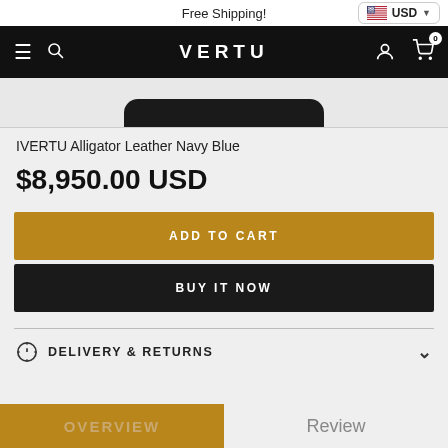Free Shipping!
[Figure (screenshot): VERTU e-commerce navigation bar with hamburger menu, search icon, VERTU logo, user icon, and cart icon. USD currency selector in top right.]
[Figure (photo): Partial view of a VERTU Alligator Leather Navy Blue phone product image — dark phone top edge visible]
IVERTU Alligator Leather Navy Blue
$8,950.00 USD
ADD TO CART
BUY IT NOW
DELIVERY & RETURNS
OVERVIEW
Review